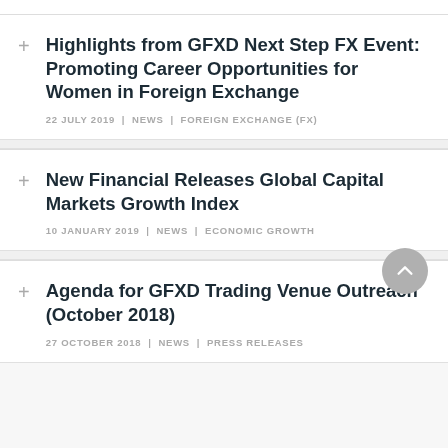Highlights from GFXD Next Step FX Event: Promoting Career Opportunities for Women in Foreign Exchange
22 JULY 2019  |  NEWS  |  FOREIGN EXCHANGE (FX)
New Financial Releases Global Capital Markets Growth Index
10 JANUARY 2019  |  NEWS  |  ECONOMIC GROWTH
Agenda for GFXD Trading Venue Outreach (October 2018)
27 OCTOBER 2018  |  NEWS  |  PRESS RELEASES